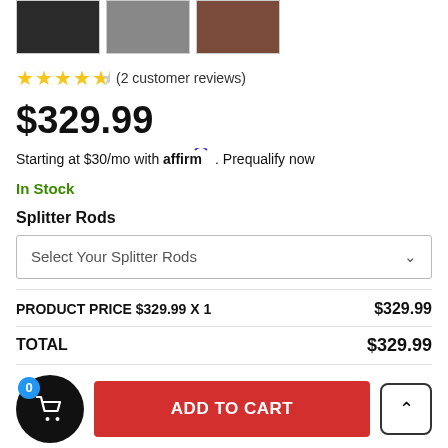[Figure (photo): Three thumbnail images of a car splitter/front lip from different angles]
★★★★½ (2 customer reviews)
$329.99
Starting at $30/mo with affirm. Prequalify now
In Stock
Splitter Rods
Select Your Splitter Rods
| PRODUCT PRICE $329.99 X 1 | $329.99 |
| TOTAL | $329.99 |
ADD TO CART